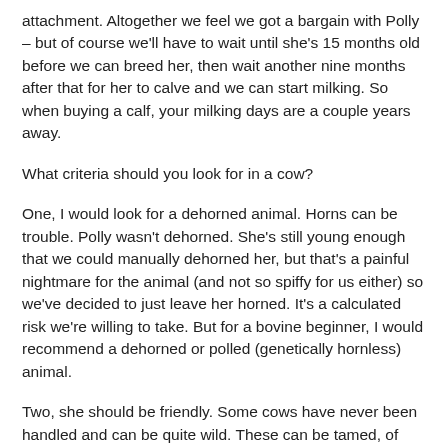attachment. Altogether we feel we got a bargain with Polly – but of course we'll have to wait until she's 15 months old before we can breed her, then wait another nine months after that for her to calve and we can start milking. So when buying a calf, your milking days are a couple years away.
What criteria should you look for in a cow?
One, I would look for a dehorned animal. Horns can be trouble. Polly wasn't dehorned. She's still young enough that we could manually dehorned her, but that's a painful nightmare for the animal (and not so spiffy for us either) so we've decided to just leave her horned. It's a calculated risk we're willing to take. But for a bovine beginner, I would recommend a dehorned or polled (genetically hornless) animal.
Two, she should be friendly. Some cows have never been handled and can be quite wild. These can be tamed, of course, but you'll have to confine her in a small corral or barn while you do this. It takes patience and patience and more patience, but it will work if you're patient. I have a friend who